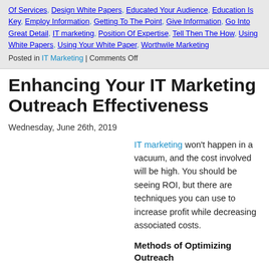Of Services, Design White Papers, Educated Your Audience, Education Is Key, Employ Information, Getting To The Point, Give Information, Go Into Great Detail, IT marketing, Position Of Expertise, Tell Then The How, Using White Papers, Using Your White Paper, Worthwile Marketing
Posted in IT Marketing | Comments Off
Enhancing Your IT Marketing Outreach Effectiveness
Wednesday, June 26th, 2019
IT marketing won't happen in a vacuum, and the cost involved will be high. You should be seeing ROI, but there are techniques you can use to increase profit while decreasing associated costs.
Methods of Optimizing Outreach
If you're going to see more profit from content, you've got to